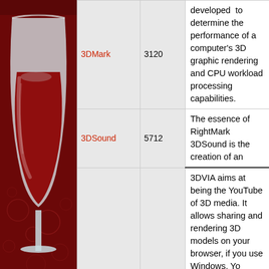[Figure (illustration): Wine glass with red wine logo on a dark red/crimson background with subtle circular patterns]
| Name | ID | Description |
| --- | --- | --- |
| 3DMark | 3120 | developed to determine the performance of a computer's 3D graphic rendering and CPU workload processing capabilities. |
| 3DSound | 5712 | The essence of RightMark 3DSound is the creation of an |
|  |  | 3DVIA aims at being the YouTube of 3D media. It allows sharing and rendering 3D models on your browser, if you use Windows. Yo |